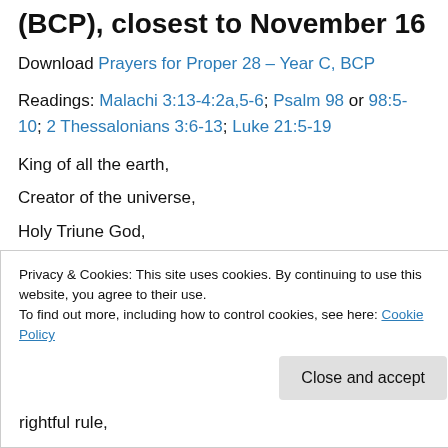(BCP), closest to November 16
Download Prayers for Proper 28 – Year C, BCP
Readings: Malachi 3:13-4:2a,5-6; Psalm 98 or 98:5-10; 2 Thessalonians 3:6-13; Luke 21:5-19
King of all the earth,
Creator of the universe,
Holy Triune God,
From everlasting to everlasting, you are Lord.
rightful rule,
Privacy & Cookies: This site uses cookies. By continuing to use this website, you agree to their use.
To find out more, including how to control cookies, see here: Cookie Policy
Close and accept